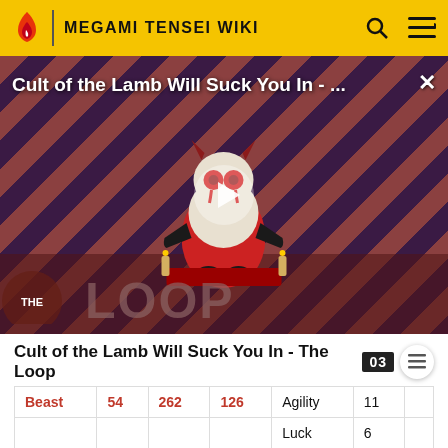MEGAMI TENSEI WIKI
[Figure (screenshot): Video thumbnail for 'Cult of the Lamb Will Suck You In - The Loop' showing an animated lamb character on a striped red and purple background with THE LOOP logo and a play button overlay]
Cult of the Lamb Will Suck You In - The Loop
| Beast | 54 | 262 | 126 | Agility | 11 |
| --- | --- | --- | --- | --- | --- |
|  |  |  |  | Luck | 6 |